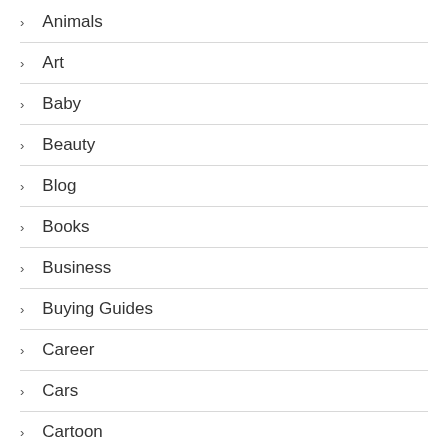Animals
Art
Baby
Beauty
Blog
Books
Business
Buying Guides
Career
Cars
Cartoon